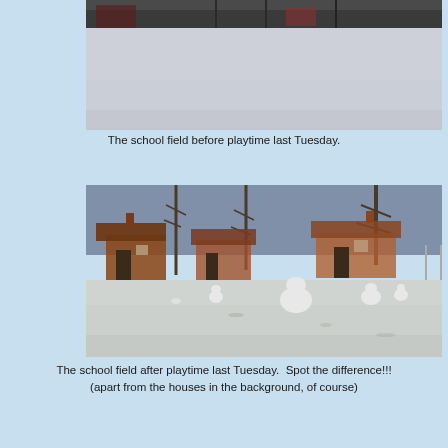[Figure (photo): Snow-covered school field before playtime — flat white snowy expanse with trees and a building faintly visible in the background under grey sky]
The school field before playtime last Tuesday.
[Figure (photo): Snow-covered school field after playtime — several snowmen and snow mounds visible across the field, with bare trees and brick houses in the background]
The school field after playtime last Tuesday.  Spot the difference!!!
(apart from the houses in the background, of course)